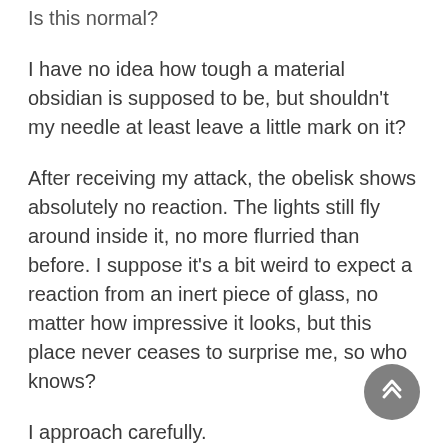Is this normal?
I have no idea how tough a material obsidian is supposed to be, but shouldn’t my needle at least leave a little mark on it?
After receiving my attack, the obelisk shows absolutely no reaction. The lights still fly around inside it, no more flurried than before. I suppose it’s a bit weird to expect a reaction from an inert piece of glass, no matter how impressive it looks, but this place never ceases to surprise me, so who knows?
I approach carefully.
As soon as I enter the clearing, I feel the powerful pressure radiating from the obelisk, like a heavy weight pressing down on my mind. It’s a similar pressure to the one I feel from some demons whenever they use their own magic to try and counter